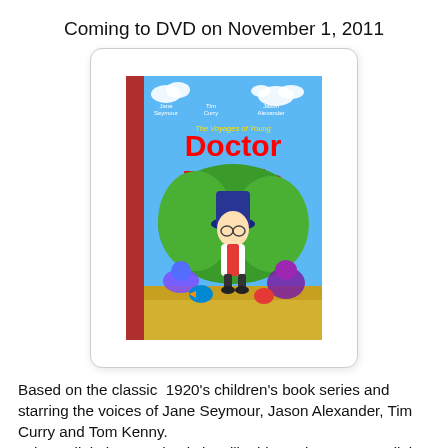Coming to DVD on November 1, 2011
[Figure (photo): DVD cover for 'The Voyages of Young Doctor Dolittle' animated film, showing an animated boy in a top hat and white coat surrounded by colorful cartoon animals, with actor names Jane Seymour, Tim Curry, Jason Alexander at the top and title text 'Doctor Dolittle' in large red letters.]
Based on the classic  1920's children's book series and starring the voices of Jane Seymour, Jason Alexander, Tim Curry and Tom Kenny.
John Dolittle loves animals just like his uncle, Doctor Dolittle. When John is warned that animals are in danger, he jumps into his uncle s submarine to help. When he arrives at Dolittle Island, he learns that it has been taken over by Ramsey the Ram and his army of gorillas. With a little help from some new friends, John comes to the rescue and